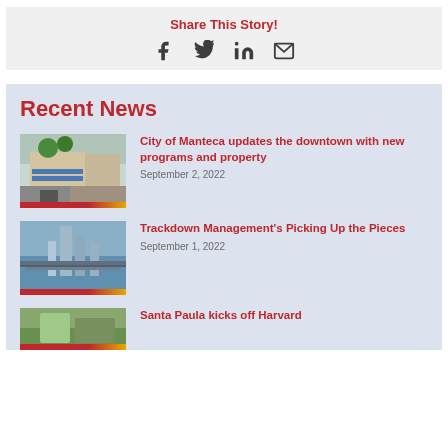Share This Story!
[Figure (infographic): Social sharing icons: Facebook, Twitter, LinkedIn, Email]
Recent News
[Figure (photo): Street scene with storefronts and trees, Manteca downtown]
City of Manteca updates the downtown with new programs and property
September 2, 2022
[Figure (photo): City skyline with tall buildings and a bridge]
Trackdown Management's Picking Up the Pieces
September 1, 2022
[Figure (photo): Partial thumbnail of a third news article, Santa Paula]
Santa Paula kicks off Harvard